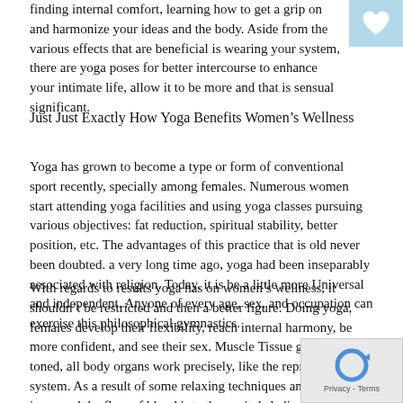finding internal comfort, learning how to get a grip on and harmonize your ideas and the body. Aside from the various effects that are beneficial is wearing your system, there are yoga poses for better intercourse to enhance your intimate life, allow it to be more and that is sensual significant.
Just Just Exactly How Yoga Benefits Women's Wellness
Yoga has grown to become a type or form of conventional sport recently, specially among females. Numerous women start attending yoga facilities and using yoga classes pursuing various objectives: fat reduction, spiritual stability, better position, etc. The advantages of this practice that is old never been doubted. a very long time ago, yoga had been inseparably associated with religion. Today, it is be a little more Universal and independent. Anyone of every age, sex, and occupation can exercise this philosophical gymnastics.
With regards to results yoga has on women's wellness, it shouldn't be restricted and then a better figure. Doing yoga, females develop their flexibility, reach internal harmony, be more confident, and see their sex. Muscle Tissue get nicely toned, all body organs work precisely, like the reproductive system. As a result of some relaxing techniques and the increased the flow of blood into the genitals ladies be rid of frigidity. Yoga workouts also relieve pain that is menstrual postpone aging, as well improve intimate life. Yoga is effective towards the anticipating ladies, since it relieves work aches.